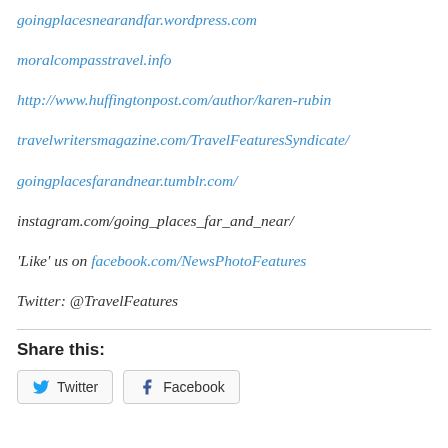goingplacesnearandfar.wordpress.com
moralcompasstravel.info
http://www.huffingtonpost.com/author/karen-rubin
travelwritersmagazine.com/TravelFeaturesSyndicate/
goingplacesfarandnear.tumblr.com/
instagram.com/going_places_far_and_near/
'Like' us on facebook.com/NewsPhotoFeatures
Twitter: @TravelFeatures
Share this:
Twitter Facebook